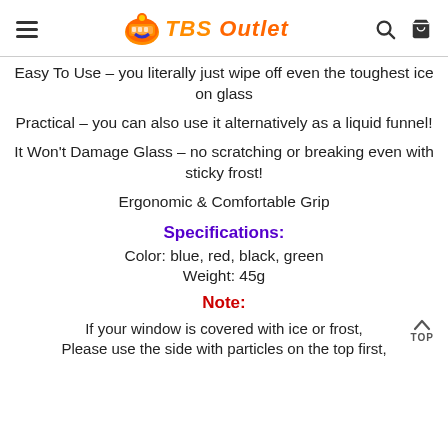TBS Outlet
Easy To Use – you literally just wipe off even the toughest ice on glass
Practical – you can also use it alternatively as a liquid funnel!
It Won't Damage Glass – no scratching or breaking even with sticky frost!
Ergonomic & Comfortable Grip
Specifications:
Color: blue, red, black, green
Weight: 45g
Note:
If your window is covered with ice or frost, Please use the side with particles on the top first,